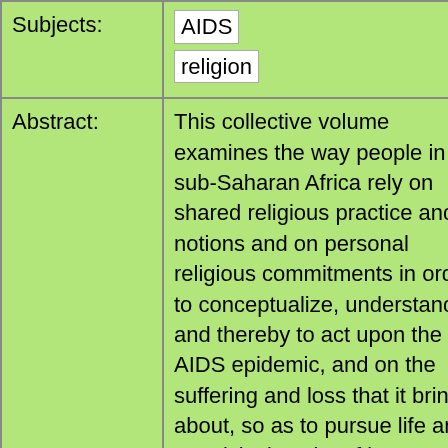| Field | Value |
| --- | --- |
| Subjects: | AIDS
religion |
| Abstract: | This collective volume examines the way people in sub-Saharan Africa rely on shared religious practice and notions and on personal religious commitments in order to conceptualize, understand and thereby to act upon the AIDS epidemic, and on the suffering and loss that it brings about, so as to pursue life and creativity in spite of it. Following the introduction by Felicitas Becker and P. Wenzel Geissler, Part 1 (New departures in Christian congregations of long standing) contains chapters on the rise of occult powers, AIDS and the Roman Catholic Church in Uganda |